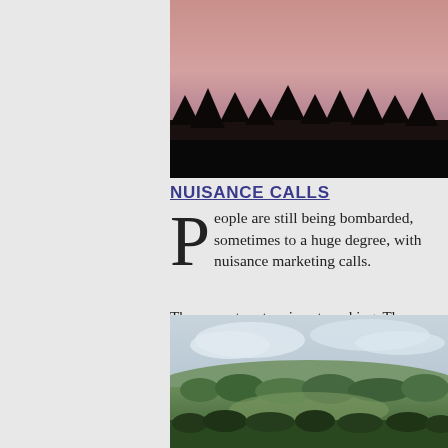[Figure (photo): Sunset landscape with silhouetted trees against a pink and purple sky]
NUISANCE CALLS
People are still being bombarded, sometimes to a huge degree, with nuisance marketing calls.
The current system is not working. The government should empower regulators, increase prosecutions, and cut down on this problem. Apart from the fact that calls are a damn nuisance, a vast proportion of industries such as PPI and Solar power, ie businesses that are unregulated, thus are likely to mislead people.
[Figure (photo): Aerial landscape photograph showing green rolling hills and forest canopy under an overcast sky]